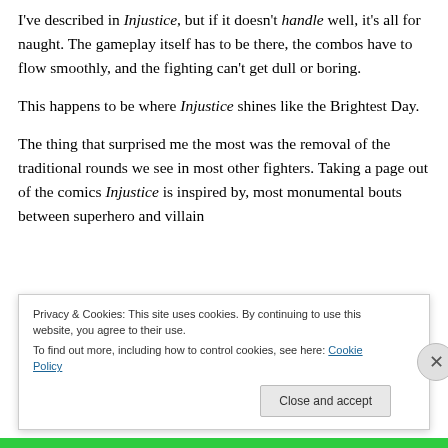I've described in Injustice, but if it doesn't handle well, it's all for naught. The gameplay itself has to be there, the combos have to flow smoothly, and the fighting can't get dull or boring.
This happens to be where Injustice shines like the Brightest Day.
The thing that surprised me the most was the removal of the traditional rounds we see in most other fighters. Taking a page out of the comics Injustice is inspired by, most monumental bouts between superhero and villain
Privacy & Cookies: This site uses cookies. By continuing to use this website, you agree to their use.
To find out more, including how to control cookies, see here: Cookie Policy